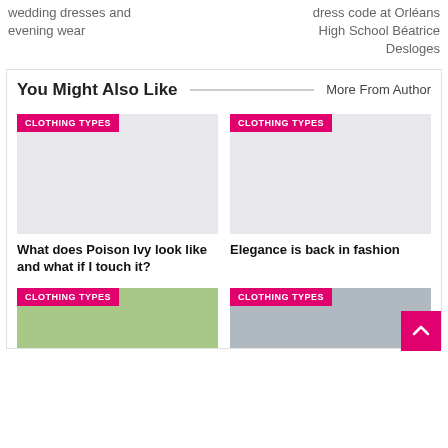wedding dresses and evening wear
dress code at Orléans High School Béatrice Desloges
You Might Also Like
More From Author
[Figure (other): Gray placeholder image with CLOTHING TYPES badge]
What does Poison Ivy look like and what if I touch it?
[Figure (other): Gray placeholder image with CLOTHING TYPES badge]
Elegance is back in fashion
[Figure (photo): Bottom left card with CLOTHING TYPES badge and grass/outdoor photo]
[Figure (photo): Bottom right card with CLOTHING TYPES badge and indoor/store photo]